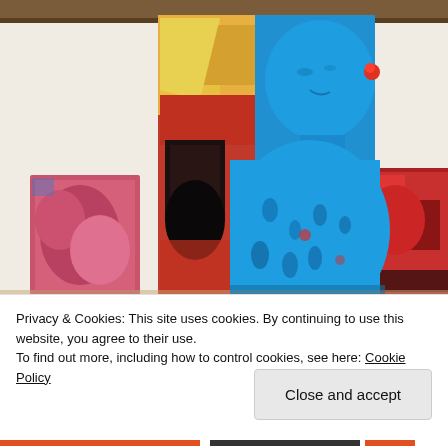[Figure (photo): Abstract painting of a figure rendered predominantly in blue, with mixed warm colors (red, orange, yellow) on the left side. The figure appears to be a person with textured brushwork. Other artworks are visible in the background. A spray bottle is visible on the lower left.]
Privacy & Cookies: This site uses cookies. By continuing to use this website, you agree to their use.
To find out more, including how to control cookies, see here: Cookie Policy
Close and accept